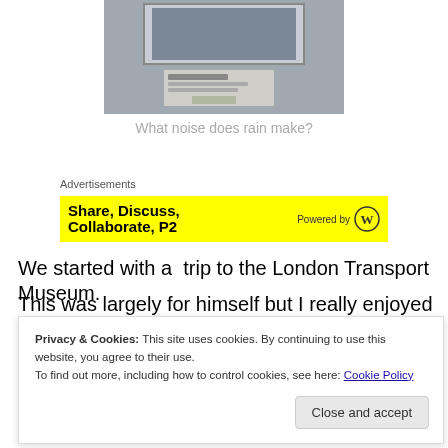[Figure (photo): A photo of museum exhibit items on a wall, including a framed picture and a card/label below it]
What noise does rain make?
Advertisements
[Figure (screenshot): Yellow advertisement banner reading 'Share, Discuss, Collaborate...' Powered by WordPress logo]
We started with a  trip to the London Transport Museum.
This was largely for himself but I really enjoyed it. This was
Privacy & Cookies: This site uses cookies. By continuing to use this website, you agree to their use. To find out more, including how to control cookies, see here: Cookie Policy
Close and accept
ideas.